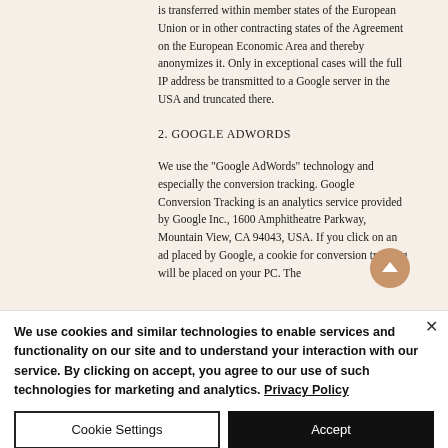is transferred within member states of the European Union or in other contracting states of the Agreement on the European Economic Area and thereby anonymizes it. Only in exceptional cases will the full IP address be transmitted to a Google server in the USA and truncated there.
2. GOOGLE ADWORDS
We use the "Google AdWords" technology and especially the conversion tracking. Google Conversion Tracking is an analytics service provided by Google Inc., 1600 Amphitheatre Parkway, Mountain View, CA 94043, USA. If you click on an ad placed by Google, a cookie for conversion tracking will be placed on your PC. The
We use cookies and similar technologies to enable services and functionality on our site and to understand your interaction with our service. By clicking on accept, you agree to our use of such technologies for marketing and analytics. Privacy Policy